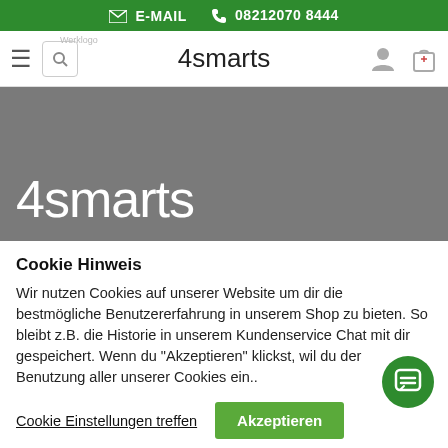E-MAIL  08212070 8444
[Figure (screenshot): 4smarts shop navigation bar with hamburger menu, search box, 4smarts logo, user icon and shopping bag icon]
[Figure (logo): 4smarts logo in white text on gray banner background]
Cookie Hinweis
Wir nutzen Cookies auf unserer Website um dir die bestmögliche Benutzererfahrung in unserem Shop zu bieten. So bleibt z.B. die Historie in unserem Kundenservice Chat mit dir gespeichert. Wenn du "Akzeptieren" klickst, wil du der Benutzung aller unserer Cookies ein..
Cookie Einstellungen treffen   Akzeptieren